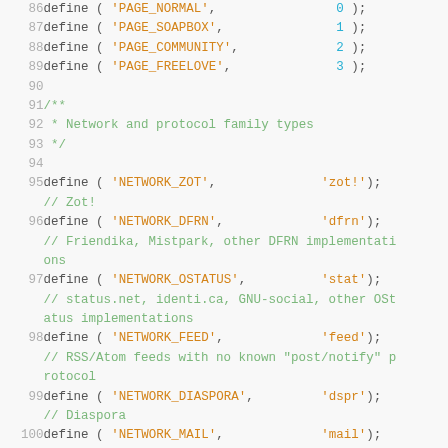Source code listing lines 86-100 showing PHP define statements and comments for page types and network/protocol family types